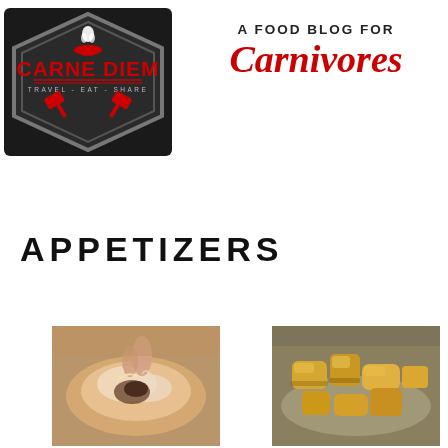[Figure (logo): Carne Diem logo — dark hexagonal badge with red text reading CARNE DIEM, subtitle TRAVEL - EAT - SHARE, white flame and bowl icon, red crossed cleavers]
A FOOD BLOG FOR Carnivores
APPETIZERS
[Figure (photo): Close-up photo of a cheesy meat dish being pulled apart, showing melted cheese and ground meat filling]
[Figure (photo): Close-up photo of golden-brown crispy pork or chicken pieces on a plate]